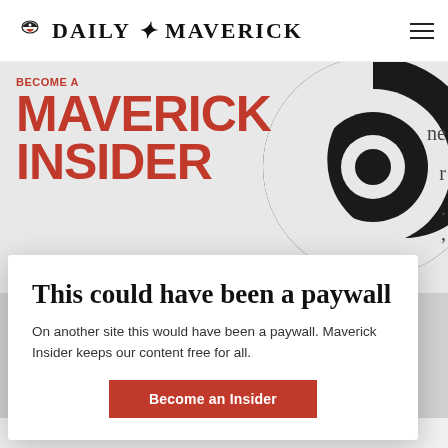DAILY MAVERICK
[Figure (logo): Daily Maverick logo with eagle emblem and bold serif text]
[Figure (illustration): Large black spiral/circle graphic on light grey background forming a promotional banner. Red bold uppercase text overlay reads BECOME A MAVERICK INSIDER.]
This could have been a paywall
On another site this would have been a paywall. Maverick Insider keeps our content free for all.
Become an Insider
MY LAND OBSESSION: POLICY IN SOUTH AFRICA...